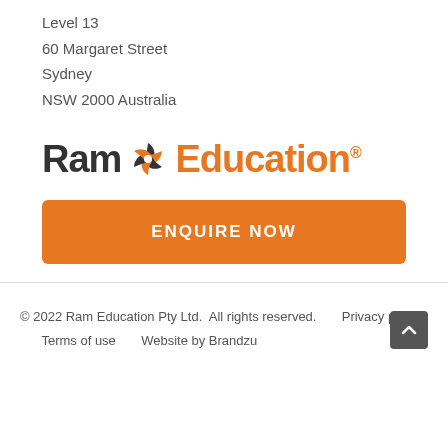Level 13
60 Margaret Street
Sydney
NSW 2000 Australia
[Figure (logo): Ram Education logo with swirl icon between 'Ram' in dark grey and 'Education' in orange, with registered trademark symbol]
ENQUIRE NOW
© 2022 Ram Education Pty Ltd.  All rights reserved.      Privacy policy      Terms of use      Website by Brandzu